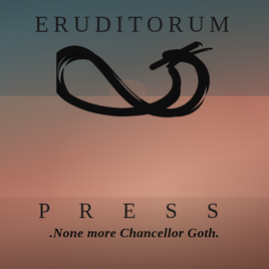ERUDITORUM
[Figure (logo): Eruditorum Press stylized EP cursive logo mark in black]
PRESS
.None more Chancellor Goth.